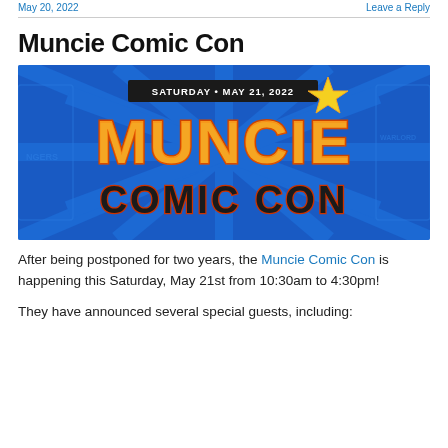May 20, 2022   Leave a Reply
Muncie Comic Con
[Figure (photo): Muncie Comic Con event banner image with blue starburst background showing 'SATURDAY • MAY 21, 2022' and large stylized text 'MUNCIE COMIC CON' in orange and yellow with dark outline, and a star graphic]
After being postponed for two years, the Muncie Comic Con is happening this Saturday, May 21st from 10:30am to 4:30pm!
They have announced several special guests, including: